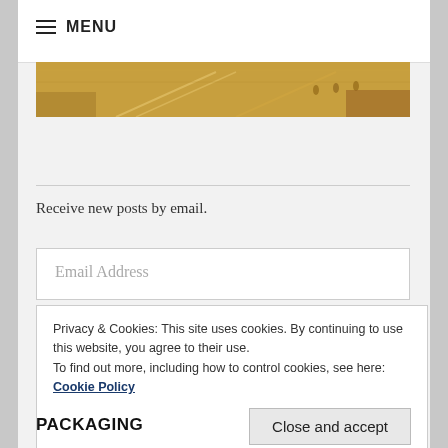≡ MENU
[Figure (photo): Partial view of a shopping mall interior with escalators and people, warm golden lighting]
Receive new posts by email.
Email Address
Privacy & Cookies: This site uses cookies. By continuing to use this website, you agree to their use.
To find out more, including how to control cookies, see here: Cookie Policy
Close and accept
PACKAGING